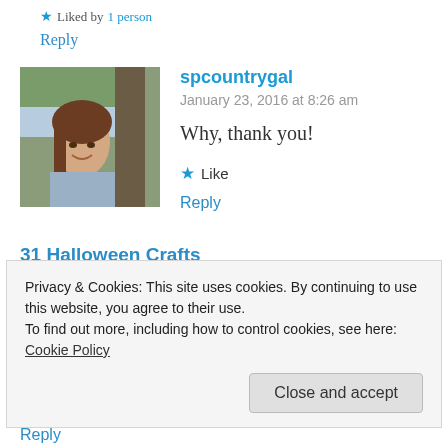★ Liked by 1 person
Reply
[Figure (photo): Avatar photo of spcountrygal, a woman with brown hair smiling outdoors near a tree]
spcountrygal
January 23, 2016 at 8:26 am
Why, thank you!
★ Like
Reply
31 Halloween Crafts
Privacy & Cookies: This site uses cookies. By continuing to use this website, you agree to their use.
To find out more, including how to control cookies, see here: Cookie Policy
Close and accept
Reply